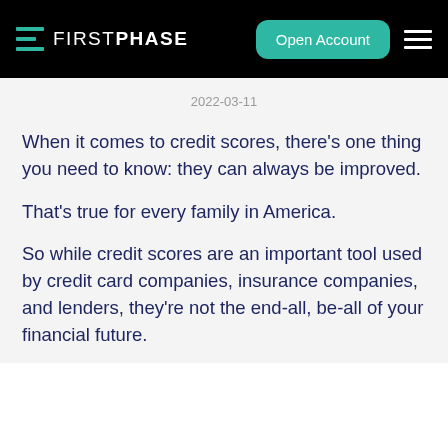FIRSTPHASE | Open Account
2022-03-11
When it comes to credit scores, there’s one thing you need to know: they can always be improved.
That’s true for every family in America.
So while credit scores are an important tool used by credit card companies, insurance companies, and lenders, they’re not the end-all, be-all of your financial future.